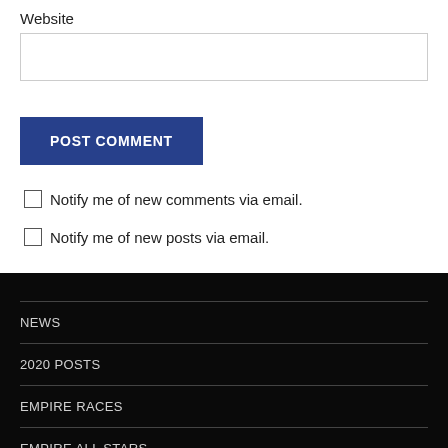Website
POST COMMENT
Notify me of new comments via email.
Notify me of new posts via email.
NEWS
2020 POSTS
EMPIRE RACES
EMPIRE ALL STARS